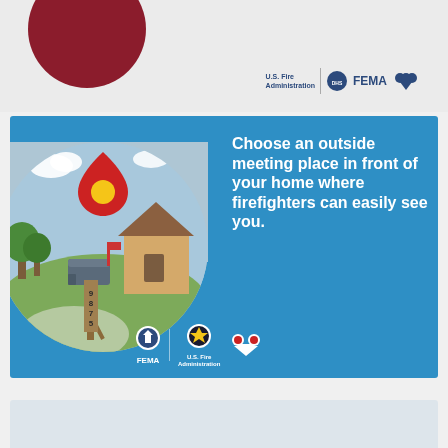[Figure (infographic): Top partial panel showing a dark red circle cropped at top with FEMA, U.S. Fire Administration, and Ready logos on a light gray background]
[Figure (infographic): Blue rectangular panel with circular illustration of a neighborhood scene (mailbox numbered 9875, house, trees, red location pin with yellow circle) and white bold text: Choose an outside meeting place in front of your home where firefighters can easily see you. FEMA, U.S. Fire Administration, and Ready campaign logos at bottom.]
Choose an outside meeting place in front of your home where firefighters can easily see you.
[Figure (infographic): Bottom partial panel showing a gray arc shape cropped, beginning of another panel]